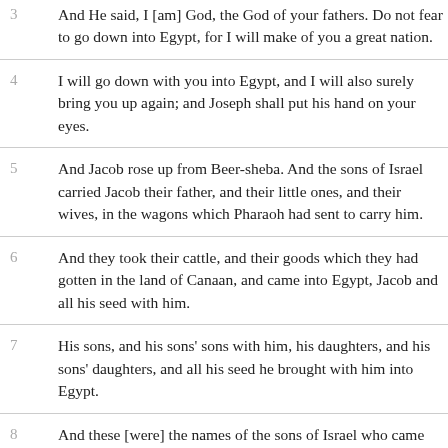3 And He said, I [am] God, the God of your fathers. Do not fear to go down into Egypt, for I will make of you a great nation.
4 I will go down with you into Egypt, and I will also surely bring you up again; and Joseph shall put his hand on your eyes.
5 And Jacob rose up from Beer-sheba. And the sons of Israel carried Jacob their father, and their little ones, and their wives, in the wagons which Pharaoh had sent to carry him.
6 And they took their cattle, and their goods which they had gotten in the land of Canaan, and came into Egypt, Jacob and all his seed with him.
7 His sons, and his sons' sons with him, his daughters, and his sons' daughters, and all his seed he brought with him into Egypt.
8 And these [were] the names of the sons of Israel who came into Egypt: Jacob and his sons: Reuben, Jacob's first-born.
9 And the sons of Reuben: Hanoch, and Phallu, and Hezron, and